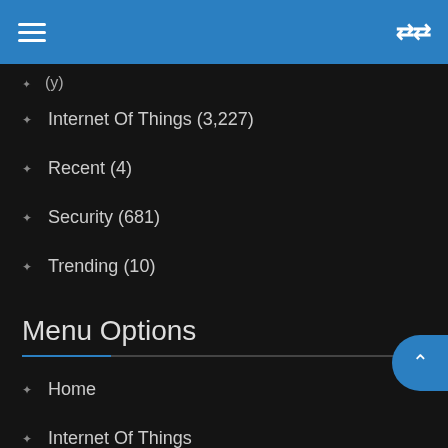Navigation header bar with hamburger menu and shuffle icon
Internet Of Things (3,227)
Recent (4)
Security (681)
Trending (10)
Menu Options
Home
Internet Of Things
Artificial Intelligence
Blockchain